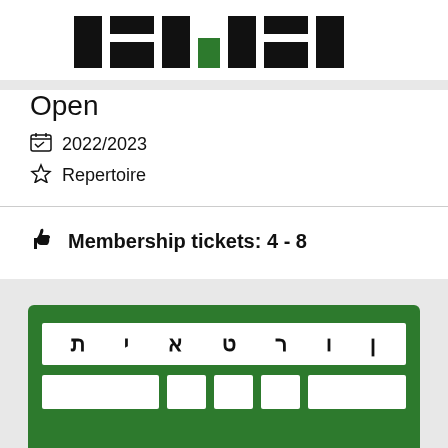[Figure (logo): Theater logo with black and green block letters on white background, partially visible at top]
Open
2022/2023
Repertoire
Membership tickets: 4 - 8
[Figure (logo): Green background card with Hebrew text 'תיאטרון' in white boxes, bottom portion of a theater membership card]